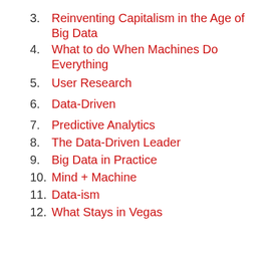3.  Reinventing Capitalism in the Age of Big Data
4.  What to do When Machines Do Everything
5.  User Research
6. Data-Driven
7. Predictive Analytics
8. The Data-Driven Leader
9. Big Data in Practice
10. Mind + Machine
11. Data-ism
12. What Stays in Vegas